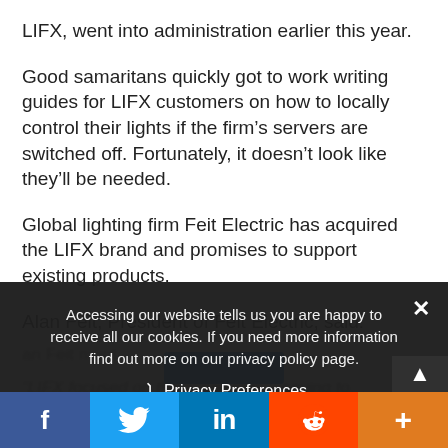LIFX, went into administration earlier this year.
Good samaritans quickly got to work writing guides for LIFX customers on how to locally control their lights if the firm’s servers are switched off. Fortunately, it doesn’t look like they’ll be needed.
Global lighting firm Feit Electric has acquired the LIFX brand and promises to support existing products.
Alan Feit, President of Feit Electric, said:
[Blurred text behind cookie overlay]
Accessing our website tells us you are happy to receive all our cookies. If you need more information find out more on our privacy policy page.
Privacy Preferences